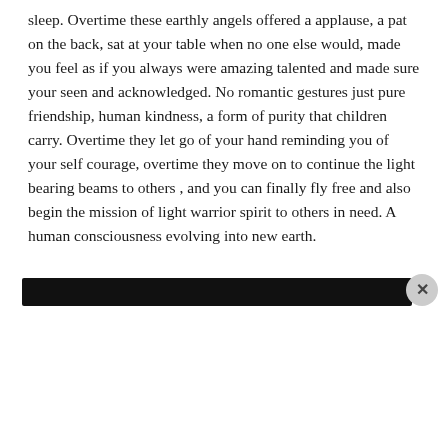sleep. Overtime these earthly angels offered a applause, a pat on the back, sat at your table when no one else would, made you feel as if you always were amazing talented and made sure your seen and acknowledged. No romantic gestures just pure friendship, human kindness, a form of purity that children carry. Overtime they let go of your hand reminding you of your self courage, overtime they move on to continue the light bearing beams to others , and you can finally fly free and also begin the mission of light warrior spirit to others in need. A human consciousness evolving into new earth.
[Figure (screenshot): Black banner bar with a circular close/X button on the right side, then an Advertisements label, followed by a DuckDuckGo advertisement with orange background showing 'Search, browse, and email with more privacy. All in One Free App' with a phone graphic and DuckDuckGo logo.]